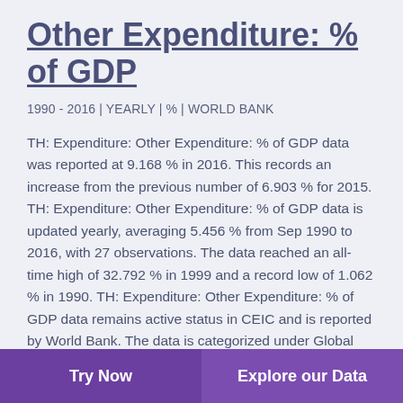Other Expenditure: % of GDP
1990 - 2016 | YEARLY | % | WORLD BANK
TH: Expenditure: Other Expenditure: % of GDP data was reported at 9.168 % in 2016. This records an increase from the previous number of 6.903 % for 2015. TH: Expenditure: Other Expenditure: % of GDP data is updated yearly, averaging 5.456 % from Sep 1990 to 2016, with 27 observations. The data reached an all-time high of 32.792 % in 1999 and a record low of 1.062 % in 1990. TH: Expenditure: Other Expenditure: % of GDP data remains active status in CEIC and is reported by World Bank. The data is categorized under Global Database's Thailand – Table TH.World Bank.WDI: Government Revenue, Expenditure and Finance. Other expense is spending on dividends, rent, and other miscellaneous expenses, including provision for consumption of fixed capital.; ; International
Try Now | Explore our Data